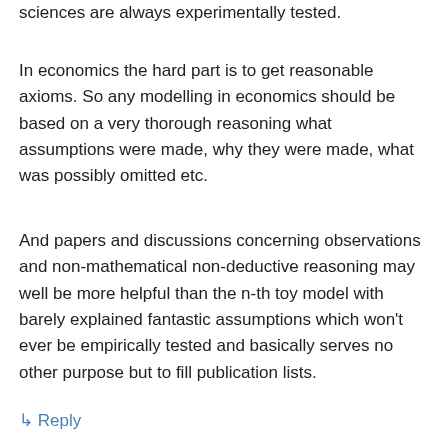sciences are always experimentally tested.
In economics the hard part is to get reasonable axioms. So any modelling in economics should be based on a very thorough reasoning what assumptions were made, why they were made, what was possibly omitted etc.
And papers and discussions concerning observations and non-mathematical non-deductive reasoning may well be more helpful than the n-th toy model with barely explained fantastic assumptions which won't ever be empirically tested and basically serves no other purpose but to fill publication lists.
↳ Reply